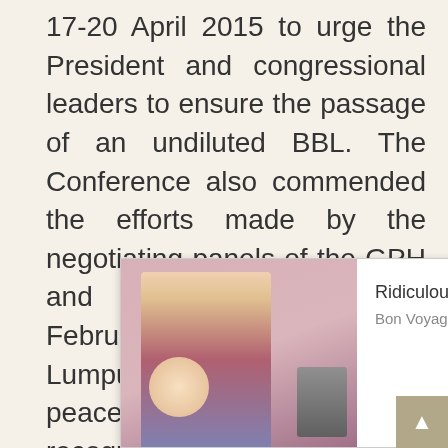17-20 April 2015 to urge the President and congressional leaders to ensure the passage of an undiluted BBL. The Conference also commended the efforts made by the negotiating panels of the GPH and the MILF on 10-11 February 2016 in Kuala Lumpur to continue with the peace process whilst recognizing that the non-passage of the BBL has adversely affected the timeline of establishing the Bangsamoro entity. The Conferencecalled for the immediate re-filing of this legis[lation in the next adm]inistration [of the] next [president.]
[Figure (other): Advertisement overlay: 'Ridiculous Boomer Skills That Are Useless Today' from Bon Voyaged via PurpleAds, with a thumbnail image of a woman and luggage.]